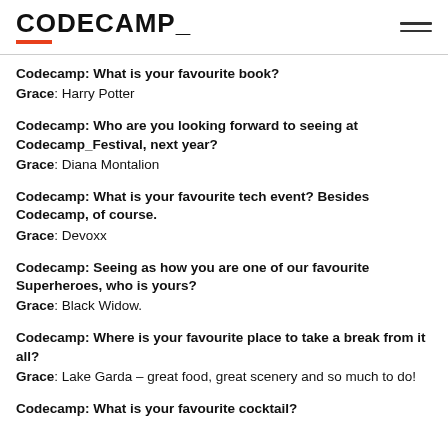CODECAMP_
Codecamp: What is your favourite book?
Grace: Harry Potter
Codecamp: Who are you looking forward to seeing at Codecamp_Festival, next year?
Grace: Diana Montalion
Codecamp: What is your favourite tech event? Besides Codecamp, of course.
Grace: Devoxx
Codecamp: Seeing as how you are one of our favourite Superheroes, who is yours?
Grace: Black Widow.
Codecamp: Where is your favourite place to take a break from it all?
Grace: Lake Garda – great food, great scenery and so much to do!
Codecamp: What is your favourite cocktail?